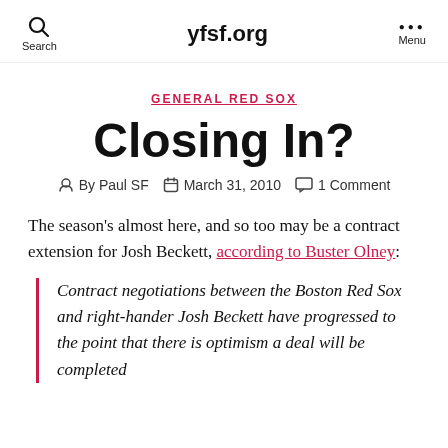yfsf.org
GENERAL RED SOX
Closing In?
By Paul SF   March 31, 2010   1 Comment
The season's almost here, and so too may be a contract extension for Josh Beckett, according to Buster Olney:
Contract negotiations between the Boston Red Sox and right-hander Josh Beckett have progressed to the point that there is optimism a deal will be completed